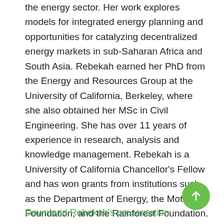the energy sector. Her work explores models for integrated energy planning and opportunities for catalyzing decentralized energy markets in sub-Saharan Africa and South Asia. Rebekah earned her PhD from the Energy and Resources Group at the University of California, Berkeley, where she also obtained her MSc in Civil Engineering. She has over 11 years of experience in research, analysis and knowledge management. Rebekah is a University of California Chancellor's Fellow and has won grants from institutions such as the Department of Energy, the Mott Foundation, and the Rainforest Foundation. She currently resides in Nairobi, Kenya, where she is a Visiting Research Fellow at Strathmore University.
Download Rebekah's presentation